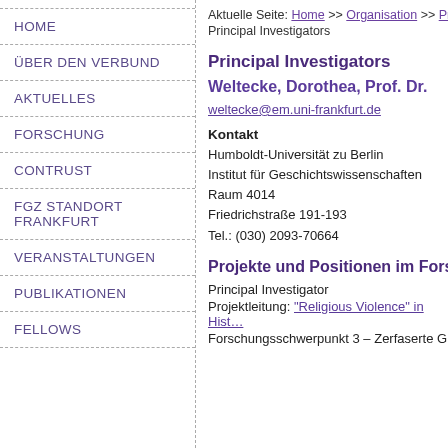Aktuelle Seite: Home >> Organisation >> Principal Investigators
Principal Investigators
HOME
ÜBER DEN VERBUND
AKTUELLES
FORSCHUNG
CONTRUST
FGZ STANDORT FRANKFURT
VERANSTALTUNGEN
PUBLIKATIONEN
FELLOWS
Principal Investigators
Weltecke, Dorothea, Prof. Dr.
weltecke@em.uni-frankfurt.de
Kontakt
Humboldt-Universität zu Berlin
Institut für Geschichtswissenschaften
Raum 4014
Friedrichstraße 191-193
Tel.: (030) 2093-70664
Projekte und Positionen im Forsc…
Principal Investigator
Projektleitung: "Religious Violence" in Hist…
Forschungsschwerpunkt 3 – Zerfaserte G…